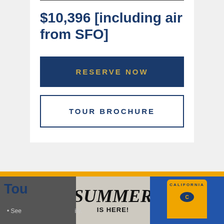$10,396 [including air from SFO]
RESERVE NOW
TOUR BROCHURE
[Figure (photo): Bottom section showing 'SUMMER IS HERE!' text overlay on a gray background, and a person wearing a gold California Bears t-shirt on a blue background]
Tou
See                                              ity.